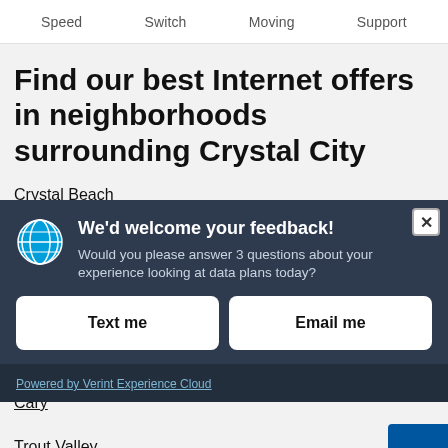Speed   Switch   Moving   Support
Find our best Internet offers in neighborhoods surrounding Crystal City
Crystal Beach
[Figure (screenshot): AT&T feedback modal dialog with dark blue background. Contains AT&T globe logo, heading 'We'd welcome your feedback!', subtext 'Would you please answer 3 questions about your experience looking at data plans today?', two buttons: 'Text me' and 'Email me', close button (X) in top right, and footer link 'Powered by Verint Experience Cloud'.]
Cary
Trout Valley